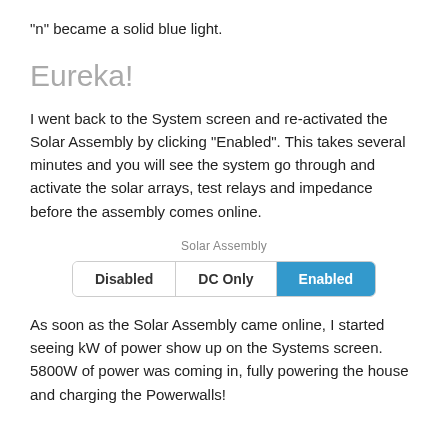“n” became a solid blue light.
Eureka!
I went back to the System screen and re-activated the Solar Assembly by clicking “Enabled”.  This takes several minutes and you will see the system go through and activate the solar arrays, test relays and impedance before the assembly comes online.
[Figure (screenshot): Solar Assembly UI toggle with three buttons: Disabled, DC Only, and Enabled (highlighted in blue)]
As soon as the Solar Assembly came online, I started seeing kW of power show up on the Systems screen. 5800W of power was coming in, fully powering the house and charging the Powerwalls!